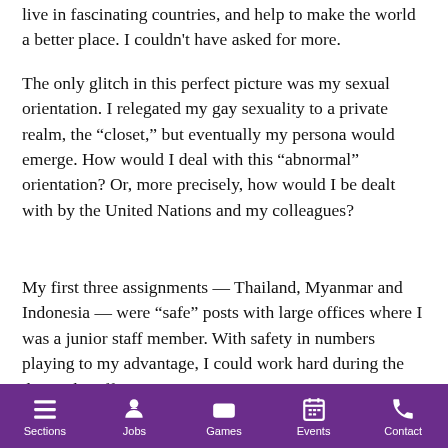live in fascinating countries, and help to make the world a better place. I couldn't have asked for more.
The only glitch in this perfect picture was my sexual orientation. I relegated my gay sexuality to a private realm, the “closet,” but eventually my persona would emerge. How would I deal with this “abnormal” orientation? Or, more precisely, how would I be dealt with by the United Nations and my colleagues?
My first three assignments — Thailand, Myanmar and Indonesia — were “safe” posts with large offices where I was a junior staff member. With safety in numbers playing to my advantage, I could work hard during the day at the office,
Sections  Jobs  Games  Events  Contact